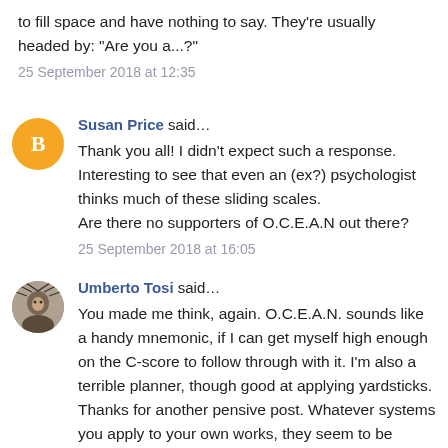to fill space and have nothing to say. They're usually headed by: "Are you a...?"
25 September 2018 at 12:35
Susan Price said...
Thank you all! I didn't expect such a response. Interesting to see that even an (ex?) psychologist thinks much of these sliding scales.
Are there no supporters of O.C.E.A.N out there?
25 September 2018 at 16:05
Umberto Tosi said...
You made me think, again. O.C.E.A.N. sounds like a handy mnemonic, if I can get myself high enough on the C-score to follow through with it. I'm also a terrible planner, though good at applying yardsticks. Thanks for another pensive post. Whatever systems you apply to your own works, they seem to be working